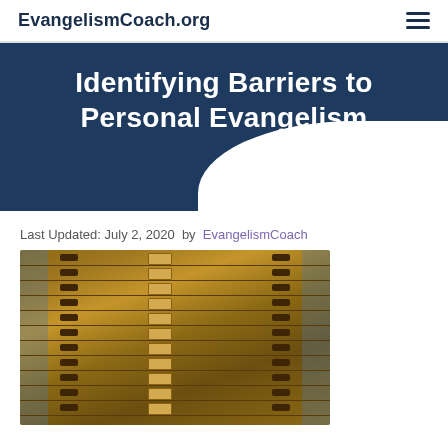EvangelismCoach.org
Identifying Barriers to Personal Evangelism
Last Updated: July 2, 2020  by  EvangelismCoach
[Figure (photo): A wooden multi-drawer flat file cabinet with metal handles and label holders on each drawer, with blue-tinted sides]